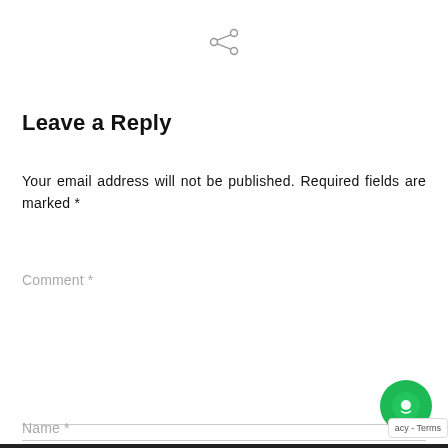[Figure (other): Share icon (social sharing symbol) at top center]
Leave a Reply
Your email address will not be published. Required fields are marked *
Comment *
Name *
[Figure (other): Green chat/support bubble icon at bottom right]
acy - Terms